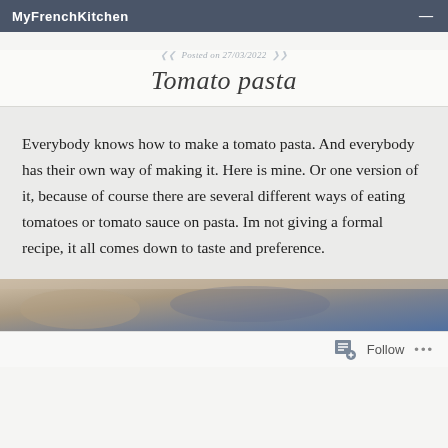MyFrenchKitchen
Posted on 27/03/2022
Tomato pasta
Everybody knows how to make a tomato pasta. And everybody has their own way of making it. Here is mine. Or one version of it, because of course there are several different ways of eating tomatoes or tomato sauce on pasta. Im not giving a formal recipe, it all comes down to taste and preference.
[Figure (photo): Close-up photo of tomato pasta dish, partially visible at bottom of page]
Follow ...